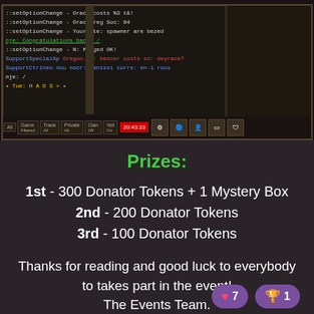[Figure (screenshot): Game UI screenshot showing a chat log with colored text lines, a bottom navigation bar with tabs (All, Game, Trade, Private, Clan, Yell), a timer showing 20:43:33, and a right side panel with game icons.]
Prizes:
1st - 300 Donator Tokens + 1 Mystery Box
2nd - 200 Donator Tokens
3rd - 100 Donator Tokens
Thanks for reading and good luck to everybody to takes part in the event!
The Events Team.